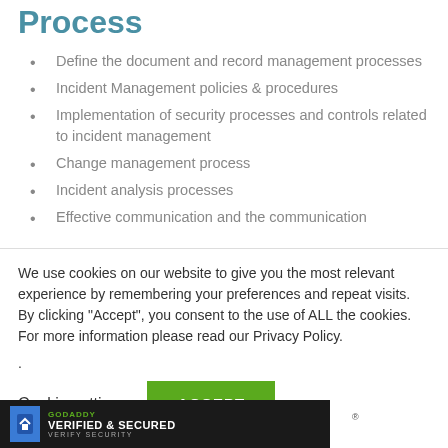Process
Define the document and record management processes
Incident Management policies & procedures
Implementation of security processes and controls related to incident management
Change management process
Incident analysis processes
Effective communication and the communication
We use cookies on our website to give you the most relevant experience by remembering your preferences and repeat visits. By clicking “Accept”, you consent to the use of ALL the cookies. For more information please read our Privacy Policy.
.
Cookie settings   ACCEPT